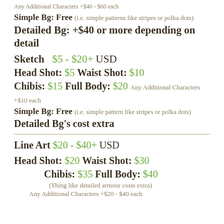Any Additional Characters +$40 - $60 each
Simple Bg: Free (i.e. simple patterns like stripes or polka dots)
Detailed Bg: +$40 or more depending on detail
Sketch  $5 - $20+ USD
Head Shot: $5 Waist Shot: $10
Chibis: $15 Full Body: $20 Any Additional Characters +$10 each
Simple Bg: Free (i.e. simple pattern like stripes or polka dots)
Detailed Bg's cost extra
Line Art $20 - $40+ USD
Head Shot: $20 Waist Shot: $30
Chibis: $35 Full Body: $40
(Thing like detailed armour costs extra)
Any Additional Characters +$20 - $40 each